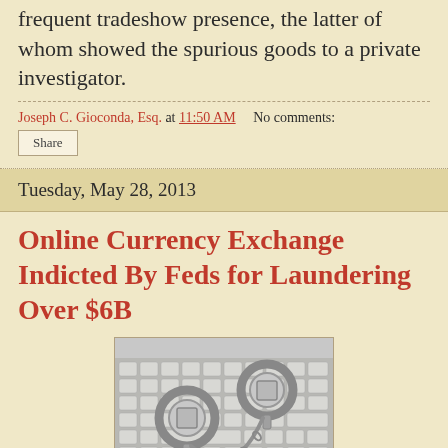frequent tradeshow presence, the latter of whom showed the spurious goods to a private investigator.
Joseph C. Gioconda, Esq. at 11:50 AM    No comments:
Share
Tuesday, May 28, 2013
Online Currency Exchange Indicted By Feds for Laundering Over $6B
[Figure (photo): Photo of metal handcuffs resting on a laptop keyboard, in greyscale tones.]